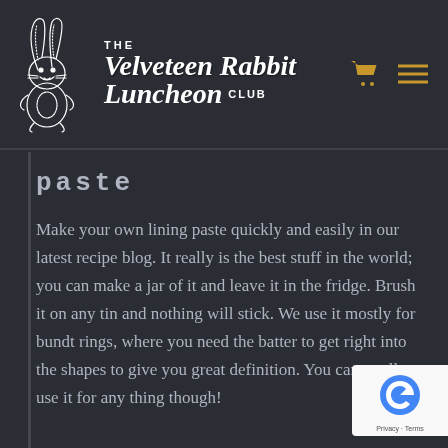The Velveteen Rabbit Luncheon Club
Paste
Make your own lining paste quickly and easily in our latest recipe blog. It really is the best stuff in the world; you can make a jar of it and leave it in the fridge. Brush it on any tin and nothing will stick. We use it mostly for bundt rings, where you need the batter to get right into the shapes to give you great definition. You can totally use it for any thing though!